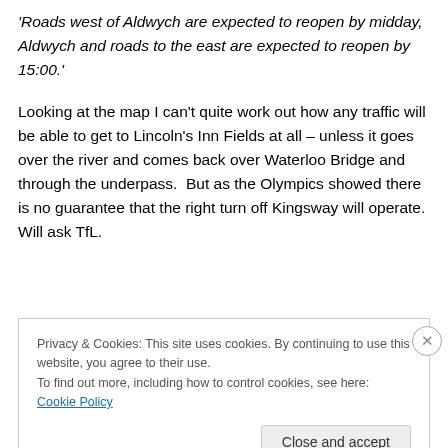'Roads west of Aldwych are expected to reopen by midday, Aldwych and roads to the east are expected to reopen by 15:00.'
Looking at the map I can't quite work out how any traffic will be able to get to Lincoln's Inn Fields at all – unless it goes over the river and comes back over Waterloo Bridge and through the underpass.  But as the Olympics showed there is no guarantee that the right turn off Kingsway will operate. Will ask TfL.
Privacy & Cookies: This site uses cookies. By continuing to use this website, you agree to their use.
To find out more, including how to control cookies, see here: Cookie Policy
Close and accept